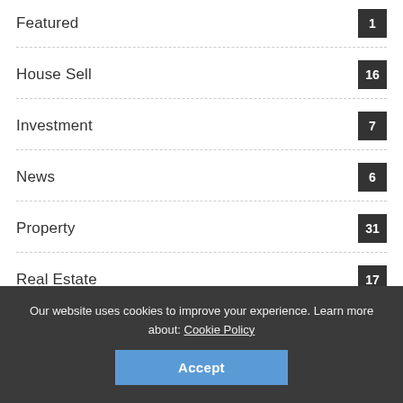Featured 1
House Sell 16
Investment 7
News 6
Property 31
Real Estate 17
Rent 6
Our website uses cookies to improve your experience. Learn more about: Cookie Policy
Accept